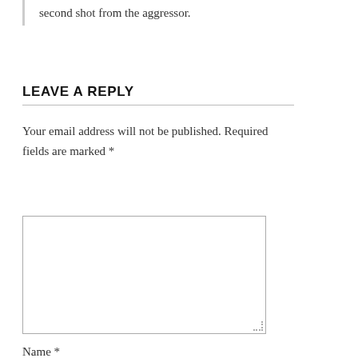second shot from the aggressor.
LEAVE A REPLY
Your email address will not be published. Required fields are marked *
[Figure (other): Empty comment textarea input box with resize handle]
Name *